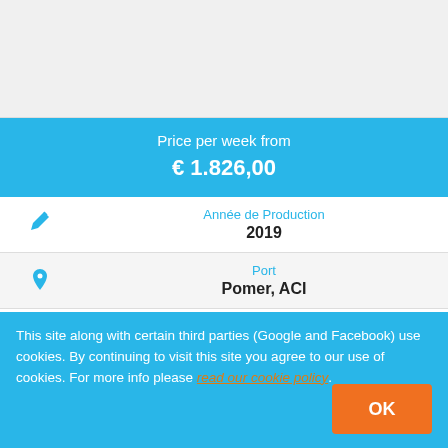[Figure (other): Top gray placeholder area (image area cropped)]
Price per week from
€ 1.826,00
Année de Production
2019
Port
Pomer, ACI
Cabines
4 + 2 + salon
This site along with certain third parties (Google and Facebook) use cookies. By continuing to visit this site you agree to our use of cookies. For more info please read our cookie policy.